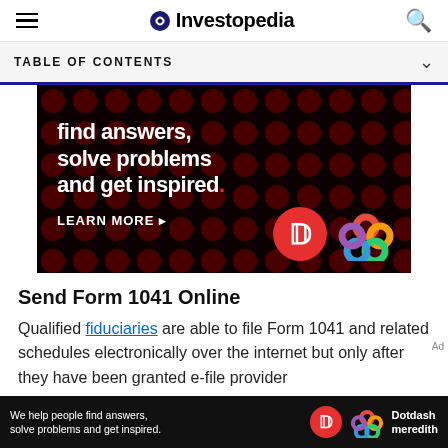Investopedia
TABLE OF CONTENTS
[Figure (photo): Advertisement banner: dark background with dot pattern, white bold text reading 'find answers, solve problems and get inspired.' with 'LEARN MORE' button and Dotdash Meredith logos]
Send Form 1041 Online
Qualified fiduciaries are able to file Form 1041 and related schedules electronically over the internet but only after they have been granted e-file provider
[Figure (photo): Bottom advertisement bar: 'We help people find answers, solve problems and get inspired.' with Dotdash Meredith logo]